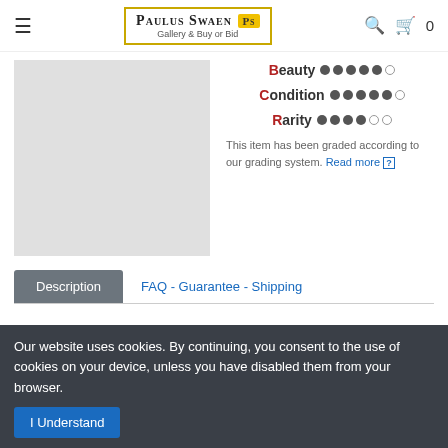Paulus Swaen Gallery & Buy or Bid
[Figure (photo): Gray placeholder image for an antique map or print product]
Beauty ●●●●●○ Condition ●●●●●○ Rarity ●●●●○○ This item has been graded according to our grading system. Read more [?]
Description | FAQ - Guarantee - Shipping
Lithographic town-plan surrounded with views of the city of Havana including the "Fuente De La India En El Paseo De
Our website uses cookies. By continuing, you consent to the use of cookies on your device, unless you have disabled them from your browser. I Understand